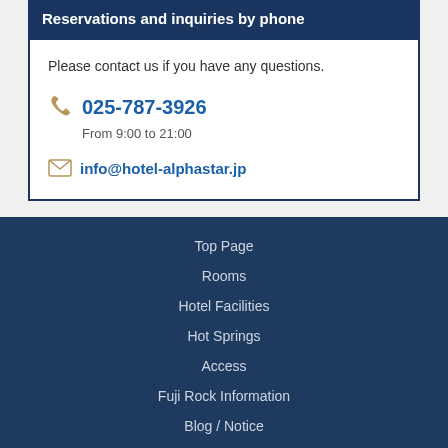Reservations and inquiries by phone
Please contact us if you have any questions.
025-787-3926
From 9:00 to 21:00
info@hotel-alphastar.jp
Top Page
Rooms
Hotel Facilities
Hot Springs
Access
Fuji Rock Information
Blog / Notice